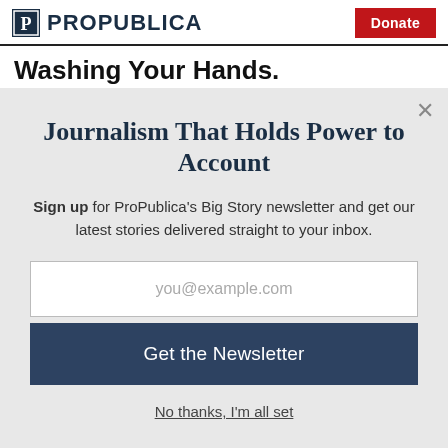ProPublica | Donate
Washing Your Hands.
Journalism That Holds Power to Account
Sign up for ProPublica's Big Story newsletter and get our latest stories delivered straight to your inbox.
you@example.com
Get the Newsletter
No thanks, I'm all set
This site is protected by reCAPTCHA and the Google Privacy Policy and Terms of Service apply.